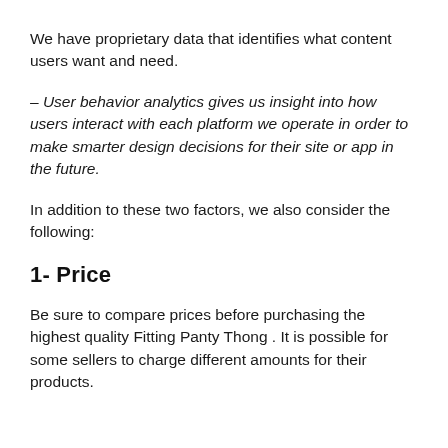We have proprietary data that identifies what content users want and need.
– User behavior analytics gives us insight into how users interact with each platform we operate in order to make smarter design decisions for their site or app in the future.
In addition to these two factors, we also consider the following:
1- Price
Be sure to compare prices before purchasing the highest quality Fitting Panty Thong . It is possible for some sellers to charge different amounts for their products.